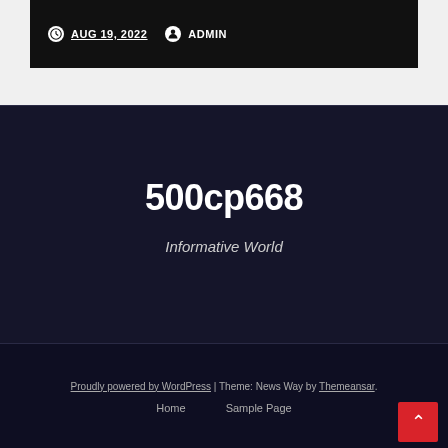AUG 19, 2022  ADMIN
500cp668
Informative World
Proudly powered by WordPress | Theme: News Way by Themeansar.  Home  Sample Page